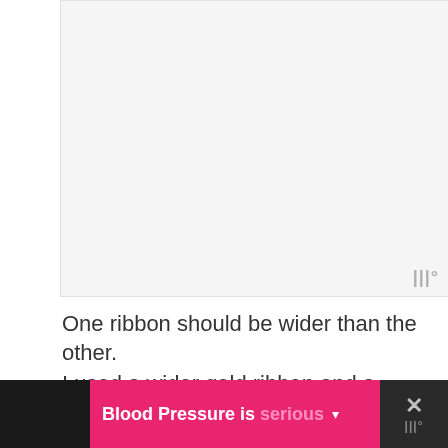[Figure (photo): Light gray placeholder image area with a watermark logo in the bottom right corner]
One ribbon should be wider than the other.
I used a wider gold ribbon and a narrower white and gold ribbon.
Blood Pressure is serious